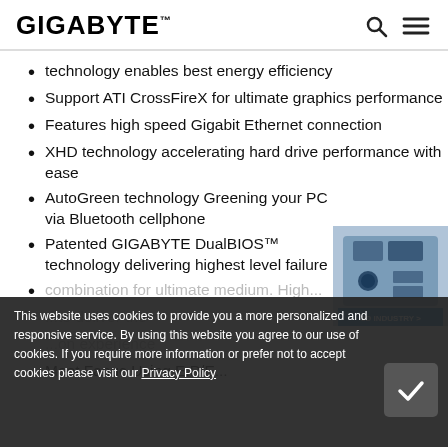GIGABYTE
technology enables best energy efficiency
Support ATI CrossFireX for ultimate graphics performance
Features high speed Gigabit Ethernet connection
XHD technology accelerating hard drive performance with ease
AutoGreen technology Greening your PC via Bluetooth cellphone
Patented GIGABYTE DualBIOS™ technology delivering highest level failure
[Figure (photo): 3D rendering of a GIGABYTE motherboard with 3D INDUSTRY badge]
This website uses cookies to provide you a more personalized and responsive service. By using this website you agree to our use of cookies. If you require more information or prefer not to accept cookies please visit our Privacy Policy
...combination for ultimate medium. High... ...to deliver the... ...on experience
Meet Fanuc Using E.P/E...